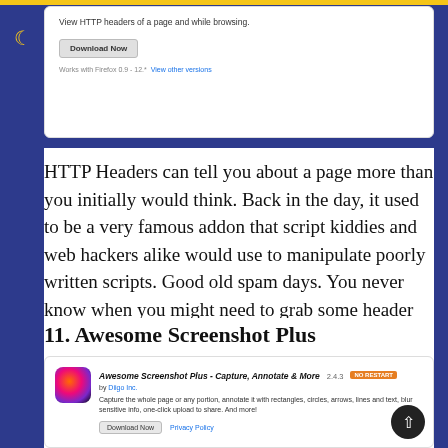[Figure (screenshot): Firefox addon page screenshot showing 'View HTTP headers of a page and while browsing.' with a Download Now button and 'Works with Firefox 0.9 - 12.*' and 'View other versions' link]
HTTP Headers can tell you about a page more than you initially would think. Back in the day, it used to be a very famous addon that script kiddies and web hackers alike would use to manipulate poorly written scripts. Good old spam days. You never know when you might need to grab some header information, definitely hold on to this addon.
11. Awesome Screenshot Plus
[Figure (screenshot): Firefox addon page screenshot for 'Awesome Screenshot Plus - Capture, Annotate & More 2.4.3' with NO RESTART badge, by Diigo Inc. Description: Capture the whole page or any portion, annotate it with rectangles, circles, arrows, lines and text, blur sensitive info, one-click upload to share. And more! With Download Now and Privacy Policy buttons.]